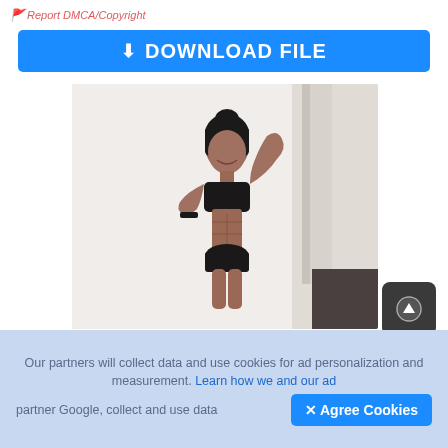🚩 Report DMCA/Copyright
⬇ DOWNLOAD FILE
[Figure (photo): Muscular woman in black sports bra and shorts flexing bicep, smiling, against white background]
Getting In Shape? This Is The Most Overlooked Advice
Herbeauty
ADSKEEPER
Our partners will collect data and use cookies for ad personalization and measurement. Learn how we and our ad partner Google, collect and use data
✕ Agree Cookies